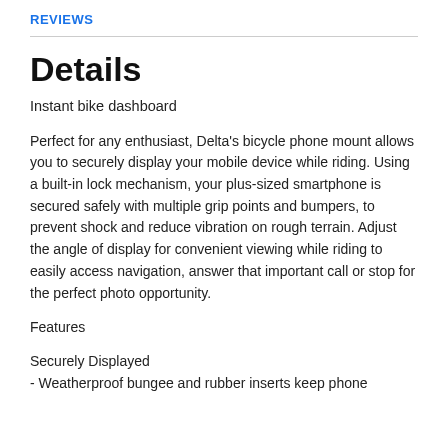REVIEWS
Details
Instant bike dashboard
Perfect for any enthusiast, Delta's bicycle phone mount allows you to securely display your mobile device while riding. Using a built-in lock mechanism, your plus-sized smartphone is secured safely with multiple grip points and bumpers, to prevent shock and reduce vibration on rough terrain. Adjust the angle of display for convenient viewing while riding to easily access navigation, answer that important call or stop for the perfect photo opportunity.
Features
Securely Displayed
- Weatherproof bungee and rubber inserts keep phone